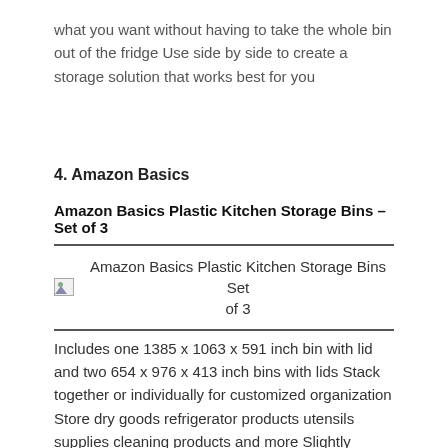what you want without having to take the whole bin out of the fridge Use side by side to create a storage solution that works best for you
4. Amazon Basics
Amazon Basics Plastic Kitchen Storage Bins – Set of 3
[Figure (photo): Amazon Basics Plastic Kitchen Storage Bins Set of 3 - broken image placeholder with label]
Includes one 1385 x 1063 x 591 inch bin with lid and two 654 x 976 x 413 inch bins with lids Stack together or individually for customized organization Store dry goods refrigerator products utensils supplies cleaning products and more Slightly recessed clear lids keep bins from slipping when stacked Set of 3 plastic storage bins for use in kitchen, pantry, refrigerator and